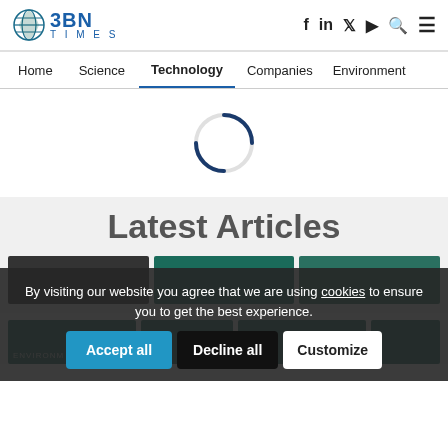BBN TIMES
Home  Science  Technology  Companies  Environment
[Figure (other): Loading spinner (circular arc indicator)]
Latest Articles
By visiting our website you agree that we are using cookies to ensure you to get the best experience.
Accept all   Decline all   Customize